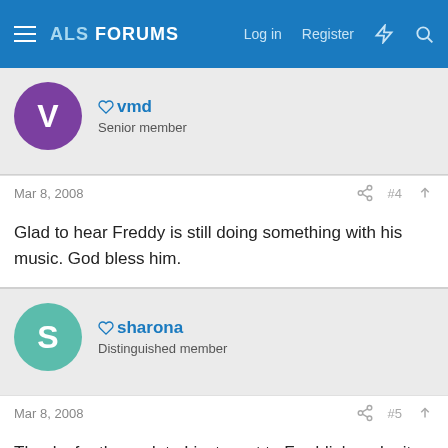ALS FORUMS — Log in | Register
vmd
Senior member
Mar 8, 2008  #4
Glad to hear Freddy is still doing something with his music. God bless him.
sharona
Distinguished member
Mar 8, 2008  #5
Thanks for the update I just went to Freddie's web site .Oh my God that man really has talent .My husband loves his kind of music & loves to play the blues on his guitar also. I pray that Freddie & Annette can keep making music if it's in his head then I think it will work with her help. God Bless them both during this